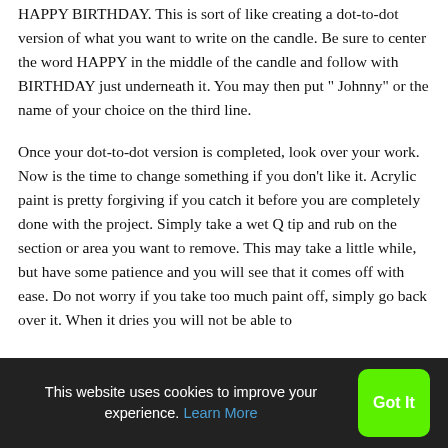HAPPY BIRTHDAY. This is sort of like creating a dot-to-dot version of what you want to write on the candle. Be sure to center the word HAPPY in the middle of the candle and follow with BIRTHDAY just underneath it. You may then put " Johnny" or the name of your choice on the third line.
Once your dot-to-dot version is completed, look over your work. Now is the time to change something if you don't like it. Acrylic paint is pretty forgiving if you catch it before you are completely done with the project. Simply take a wet Q tip and rub on the section or area you want to remove. This may take a little while, but have some patience and you will see that it comes off with ease. Do not worry if you take too much paint off, simply go back over it. When it dries you will not be able to
This website uses cookies to improve your experience. Learn More  Got It